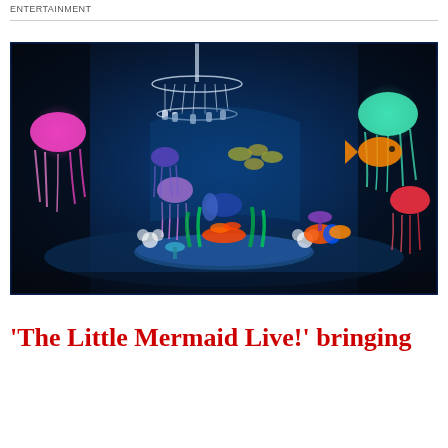ENTERTAINMENT
[Figure (photo): An underwater-themed theatrical stage set design showing colorful glowing jellyfish, tropical fish, sea anemones, coral, and other marine life arranged around a circular platform. A crystal chandelier hangs from the top center. The scene is lit in deep blue tones with vibrant neon colors on the sea creatures, evoking an underwater world for a theatrical production.]
‘The Little Mermaid Live!’ bringing